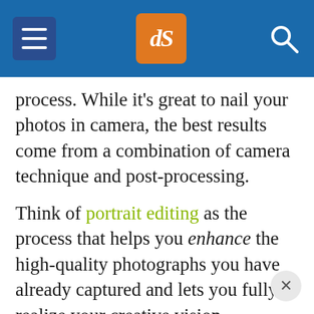dPS navigation header with hamburger menu, logo, and search icon
process. While it's great to nail your photos in camera, the best results come from a combination of camera technique and post-processing.
Think of portrait editing as the process that helps you enhance the high-quality photographs you have already captured and lets you fully realize your creative vision.
I'm not necessarily talking about elaborate adjustments. I'd simply encourage you to work